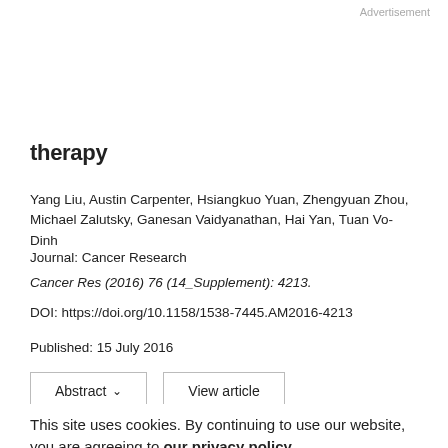Advertisement
therapy
Yang Liu, Austin Carpenter, Hsiangkuo Yuan, Zhengyuan Zhou, Michael Zalutsky, Ganesan Vaidyanathan, Hai Yan, Tuan Vo-Dinh
Journal: Cancer Research
Cancer Res (2016) 76 (14_Supplement): 4213.
DOI: https://doi.org/10.1158/1538-7445.AM2016-4213
Published: 15 July 2016
This site uses cookies. By continuing to use our website, you are agreeing to our privacy policy. Accept